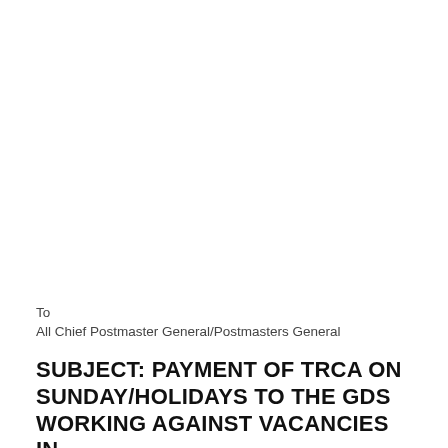To
All Chief Postmaster General/Postmasters General
SUBJECT: PAYMENT OF TRCA ON SUNDAY/HOLIDAYS TO THE GDS WORKING AGAINST VACANCIES IN